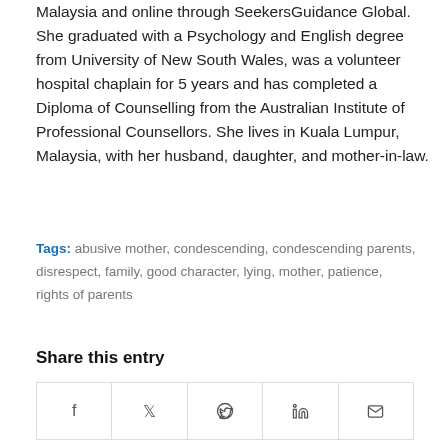Malaysia and online through SeekersGuidance Global. She graduated with a Psychology and English degree from University of New South Wales, was a volunteer hospital chaplain for 5 years and has completed a Diploma of Counselling from the Australian Institute of Professional Counsellors. She lives in Kuala Lumpur, Malaysia, with her husband, daughter, and mother-in-law.
Tags: abusive mother, condescending, condescending parents, disrespect, family, good character, lying, mother, patience, rights of parents
Share this entry
[Figure (other): Social sharing buttons row with icons for Facebook, Twitter, WhatsApp, LinkedIn, and Email]